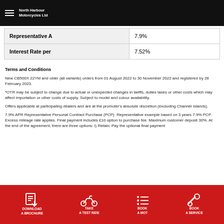North Harbour Motorcycles Ltd
| Representative A | 7.9% |
| Interest Rate per | 7.52% |
Terms and Conditions
New CB500X 22YM and older (all variants) orders from 01 August 2022 to 30 November 2022 and registered by 28 February 2023.
*OTR may be subject to change due to actual or unexpected changes in tariffs, duties taxes or other costs which may affect importation or other costs of supply. Subject to model and colour availability.
Offers applicable at participating dealers and are at the promoter's absolute discretion (excluding Channel Islands).
7.9% APR Representative Personal Contract Purchase (PCP)  Representative example based on 3 years 7.9% PCP. Excess mileage rate applies. Final payment includes £10 option to purchase fee. Maximum customer deposit 30%. At the end of the agreement, there are three options: i) Retain: Pay the optional final payment
DOWNLOAD A BROCHURE | TAKE A TEST RIDE | BOOK A MOT | BOOK A SERVICE